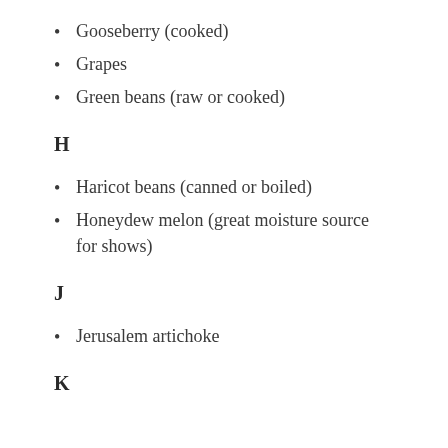Gooseberry (cooked)
Grapes
Green beans (raw or cooked)
H
Haricot beans (canned or boiled)
Honeydew melon (great moisture source for shows)
J
Jerusalem artichoke
K